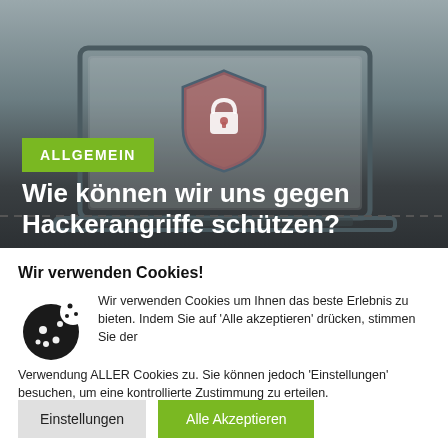[Figure (illustration): Hero image: dark grey gradient background with an illustration of a laptop with a security shield and padlock icon on screen, suggesting cybersecurity theme.]
ALLGEMEIN
Wie können wir uns gegen Hackerangriffe schützen?
Wir verwenden Cookies!
Wir verwenden Cookies um Ihnen das beste Erlebnis zu bieten. Indem Sie auf 'Alle akzeptieren' drücken, stimmen Sie der Verwendung ALLER Cookies zu. Sie können jedoch 'Einstellungen' besuchen, um eine kontrollierte Zustimmung zu erteilen.
Einstellungen
Alle Akzeptieren